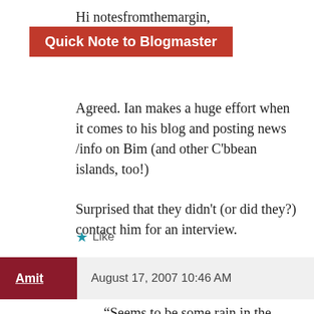Hi notesfromthemargin,
Quick Note to Blogmaster
Agreed. Ian makes a huge effort when it comes to his blog and posting news /info on Bim (and other C'bbean islands, too!)
Surprised that they didn't (or did they?) contact him for an interview.
Rgds,
Amit.
★ Like
Amit   August 17, 2007 10:46 AM
“Seems to be some rain in the North but very little to the South and East of